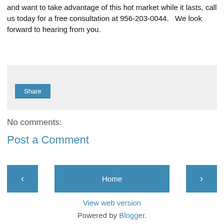and want to take advantage of this hot market while it lasts, call us today for a free consultation at 956-203-0044.   We look forward to hearing from you.
[Figure (other): Gray share box with a Share button]
No comments:
Post a Comment
< Home >
View web version
Powered by Blogger.